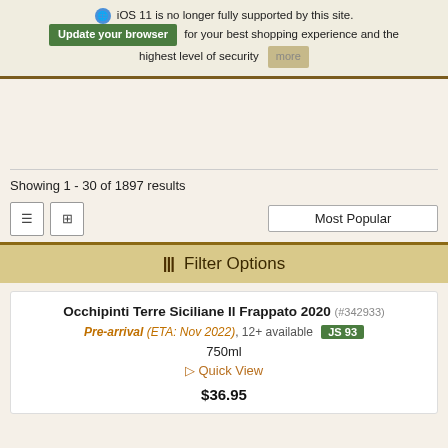iOS 11 is no longer fully supported by this site. Update your browser for your best shopping experience and the highest level of security
Showing 1 - 30 of 1897 results
Filter Options
Occhipinti Terre Siciliane Il Frappato 2020 (#342933) Pre-arrival (ETA: Nov 2022), 12+ available JS 93 750ml Quick View $36.95